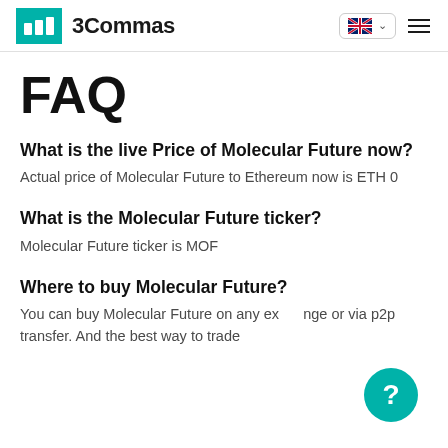3Commas
FAQ
What is the live Price of Molecular Future now?
Actual price of Molecular Future to Ethereum now is ETH 0
What is the Molecular Future ticker?
Molecular Future ticker is MOF
Where to buy Molecular Future?
You can buy Molecular Future on any exchange or via p2p transfer. And the best way to trade